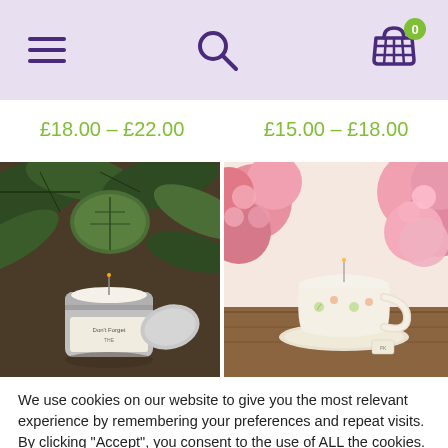Navigation header with hamburger menu, search icon, and shopping cart (0 items)
£18.00 – £22.00
£15.00 – £18.00
[Figure (photo): A white candle in a tin container surrounded by green leaves on a wooden surface]
[Figure (photo): A white candle in a floral teacup surrounded by pink hydrangea flowers]
We use cookies on our website to give you the most relevant experience by remembering your preferences and repeat visits. By clicking "Accept", you consent to the use of ALL the cookies.
Cookie settings
ACCEPT